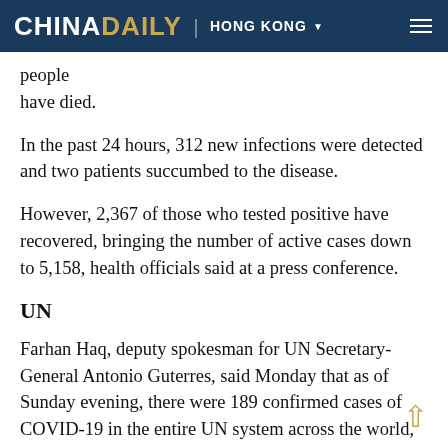CHINA DAILY | HONG KONG
people … have died.
In the past 24 hours, 312 new infections were detected and two patients succumbed to the disease.
However, 2,367 of those who tested positive have recovered, bringing the number of active cases down to 5,158, health officials said at a press conference.
UN
Farhan Haq, deputy spokesman for UN Secretary-General Antonio Guterres, said Monday that as of Sunday evening, there were 189 confirmed cases of COVID-19 in the entire UN system across the world, including three deaths.
Cameroon